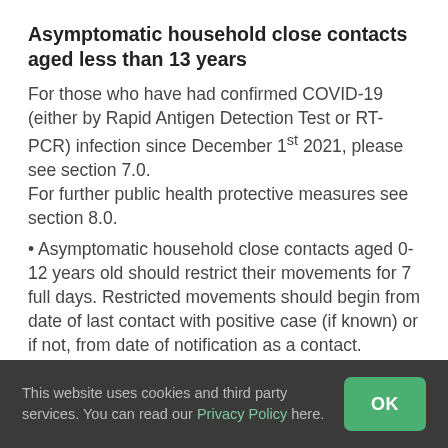Asymptomatic household close contacts aged less than 13 years
For those who have had confirmed COVID-19 (either by Rapid Antigen Detection Test or RT-PCR) infection since December 1st 2021, please see section 7.0.
For further public health protective measures see section 8.0.
Asymptomatic household close contacts aged 0-12 years old should restrict their movements for 7 full days. Restricted movements should begin from date of last contact with positive case (if known) or if not, from date of notification as a contact.
Children aged 9-12 years old should wear a well fitted
This website uses cookies and third party services. You can read our Privacy Policy here.